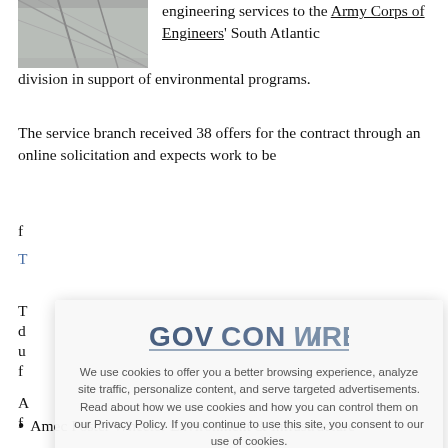[Figure (photo): Indoor photo showing ceiling or structural elements, partially visible in upper left]
engineering services to the Army Corps of Engineers' South Atlantic division in support of environmental programs.
The service branch received 38 offers for the contract through an online solicitation and expects work to be
f
T
T
d
u
f
A
f
[Figure (screenshot): GovConWire cookie consent popup overlay showing logo, cookie policy message, and X close button]
Amec Foster Wheeler Environment & Infrastructure